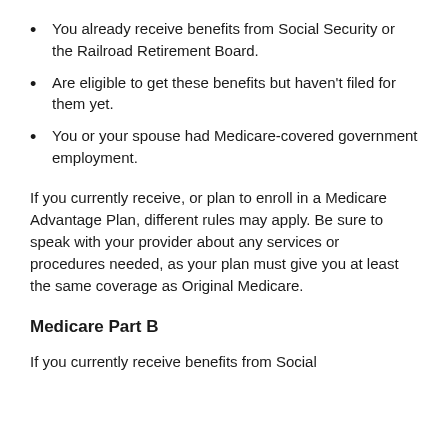You already receive benefits from Social Security or the Railroad Retirement Board.
Are eligible to get these benefits but haven't filed for them yet.
You or your spouse had Medicare-covered government employment.
If you currently receive, or plan to enroll in a Medicare Advantage Plan, different rules may apply. Be sure to speak with your provider about any services or procedures needed, as your plan must give you at least the same coverage as Original Medicare.
Medicare Part B
If you currently receive benefits from Social